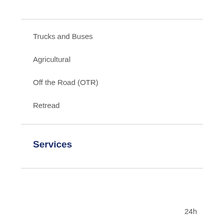Trucks and Buses
Agricultural
Off the Road (OTR)
Retread
Services
24h